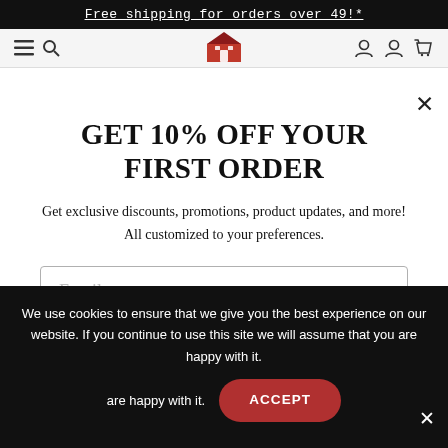Free shipping for orders over 49!*
[Figure (logo): Red barn logo with navigation icons: hamburger menu on left, search icon, barn icon in center, icons on right including account and cart]
GET 10% OFF YOUR FIRST ORDER
Get exclusive discounts, promotions, product updates, and more! All customized to your preferences.
Email
We use cookies to ensure that we give you the best experience on our website. If you continue to use this site we will assume that you are happy with it.
ACCEPT